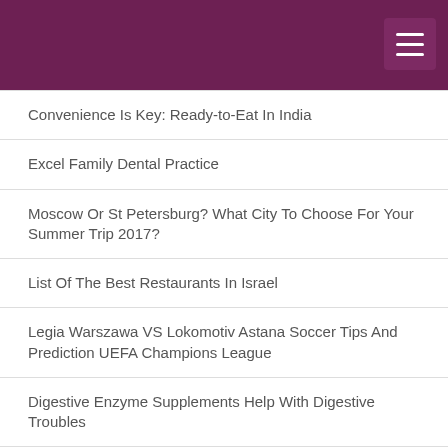Convenience Is Key: Ready-to-Eat In India
Excel Family Dental Practice
Moscow Or St Petersburg? What City To Choose For Your Summer Trip 2017?
List Of The Best Restaurants In Israel
Legia Warszawa VS Lokomotiv Astana Soccer Tips And Prediction UEFA Champions League
Digestive Enzyme Supplements Help With Digestive Troubles
Vitamin D Not Just For Bones Anymore